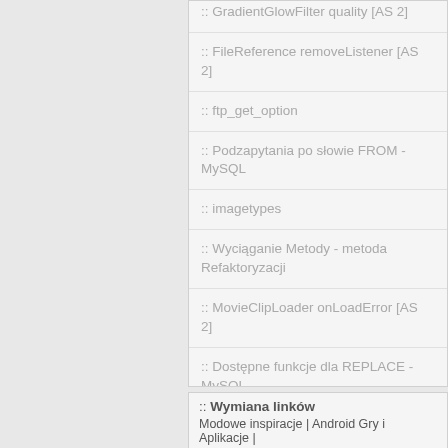:: GradientGlowFilter quality [AS 2]
:: FileReference removeListener [AS 2]
:: ftp_get_option
:: Podzapytania po słowie FROM - MySQL
:: imagetypes
:: Wyciąganie Metody - metoda Refaktoryzacji
:: MovieClipLoader onLoadError [AS 2]
:: Dostępne funkcje dla REPLACE - MySQL
:: Sprawdzanie Peselu
:: Wymiana linków
Modowe inspiracje | Android Gry i Aplikacje |